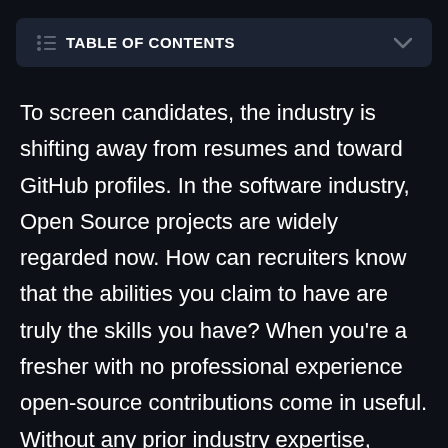TABLE OF CONTENTS
To screen candidates, the industry is shifting away from resumes and toward GitHub profiles. In the software industry, Open Source projects are widely regarded now. How can recruiters know that the abilities you claim to have are truly the skills you have? When you're a fresher with no professional experience open-source contributions come in useful. Without any prior industry expertise, GitHub allows you to exhibit your work. As a result, it's important to make